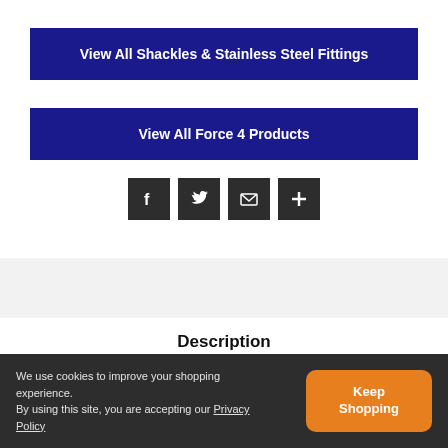View All Shackles & Stainless Steel Fittings
View All Force 4 Products
[Figure (other): Social share icons: Facebook, Twitter, Email, More (plus sign)]
Description
We use cookies to improve your shopping experience. By using this site, you are accepting our Privacy Policy  Keep Shopping